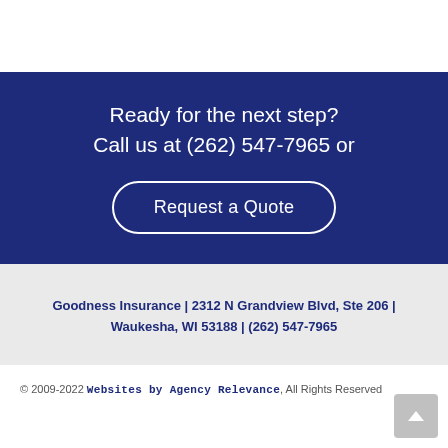Ready for the next step? Call us at (262) 547-7965 or
Request a Quote
Goodness Insurance | 2312 N Grandview Blvd, Ste 206 | Waukesha, WI 53188 | (262) 547-7965
© 2009-2022 Websites by Agency Relevance, All Rights Reserved